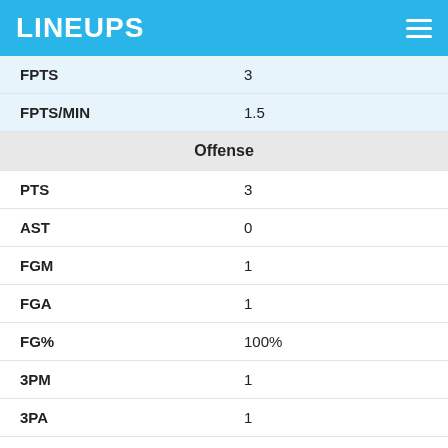LINEUPS
| FPTS | 3 |
| FPTS/MIN | 1.5 |
| Offense |  |
| PTS | 3 |
| AST | 0 |
| FGM | 1 |
| FGA | 1 |
| FG% | 100% |
| 3PM | 1 |
| 3PA | 1 |
| 3P% | 100% |
| FTM | 0 |